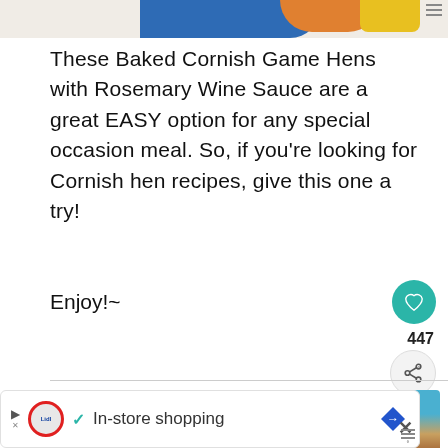[Figure (illustration): Top banner with blue, orange, and yellow decorative shapes on a light background]
These Baked Cornish Game Hens with Rosemary Wine Sauce are a great EASY option for any special occasion meal. So, if you're looking for Cornish hen recipes, give this one a try!
Enjoy!~
[Figure (photo): Photo of baked Cornish game hens with rosemary garnish on a blue background]
WHAT'S NEXT → Shortcut Harvest...
In-store shopping